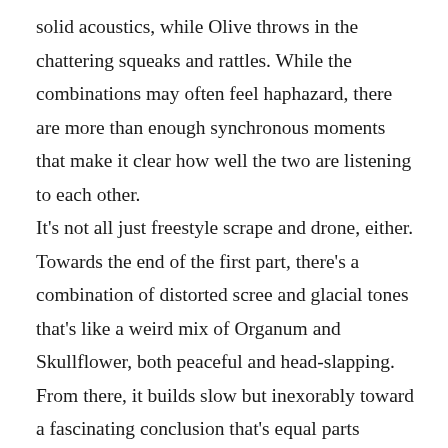solid acoustics, while Olive throws in the chattering squeaks and rattles. While the combinations may often feel haphazard, there are more than enough synchronous moments that make it clear how well the two are listening to each other. It's not all just freestyle scrape and drone, either. Towards the end of the first part, there's a combination of distorted scree and glacial tones that's like a weird mix of Organum and Skullflower, both peaceful and head-slapping. From there, it builds slow but inexorably toward a fascinating conclusion that's equal parts Merzbow and AMM, with plucked string sounds cleanly shining through a dense wall of noise. The second part follows a similar modus operandi;